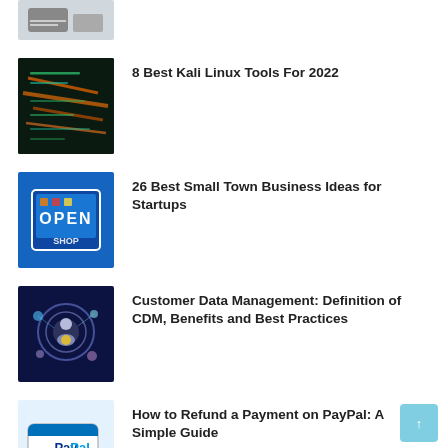[Figure (photo): Partial thumbnail of a desk/laptop scene at top]
[Figure (photo): Kali Linux terminal with orange/teal code screen]
8 Best Kali Linux Tools For 2022
[Figure (photo): Open Shop sign on blue background]
26 Best Small Town Business Ideas for Startups
[Figure (photo): Customer data management: glowing digital person sphere]
Customer Data Management: Definition of CDM, Benefits and Best Practices
[Figure (photo): PayPal logo on a card/phone]
How to Refund a Payment on PayPal: A Simple Guide